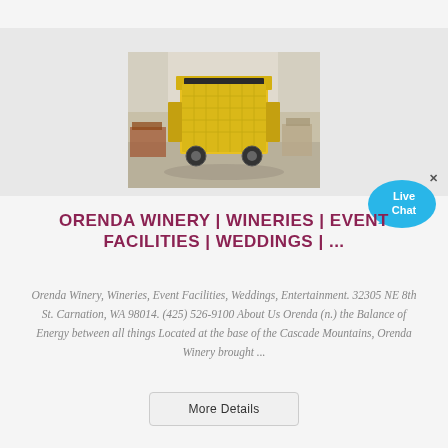[Figure (photo): Yellow industrial crushing/mining machine in a warehouse setting]
ORENDA WINERY | WINERIES | EVENT FACILITIES | WEDDINGS | ...
Orenda Winery, Wineries, Event Facilities, Weddings, Entertainment. 32305 NE 8th St. Carnation, WA 98014. (425) 526-9100 About Us Orenda (n.) the Balance of Energy between all things Located at the base of the Cascade Mountains, Orenda Winery brought ...
[Figure (illustration): Live Chat speech bubble widget]
More Details